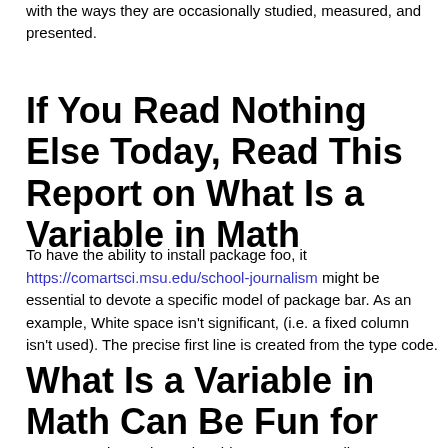with the ways they are occasionally studied, measured, and presented.
If You Read Nothing Else Today, Read This Report on What Is a Variable in Math
To have the ability to install package foo, it https://comartsci.msu.edu/school-journalism might be essential to devote a specific model of package bar. As an example, White space isn't significant, (i.e. a fixed column isn't used). The precise first line is created from the type code.
What Is a Variable in Math Can Be Fun for Everyone
Consequently, math word problems are an excellent way to emphasize the significance of math in everyday life. Our lesson